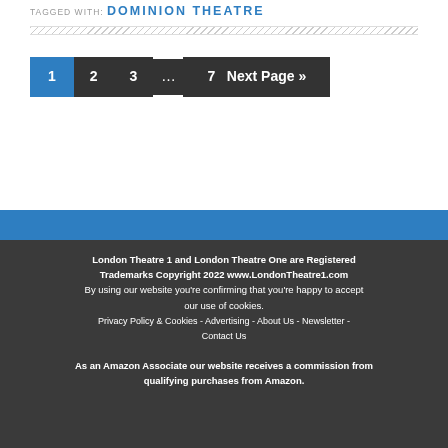TAGGED WITH: DOMINION THEATRE
1  2  3  ...  7  Next Page »
London Theatre 1 and London Theatre One are Registered Trademarks Copyright 2022 www.LondonTheatre1.com
By using our website you're confirming that you're happy to accept our use of cookies.
Privacy Policy & Cookies - Advertising - About Us - Newsletter - Contact Us

As an Amazon Associate our website receives a commission from qualifying purchases from Amazon.